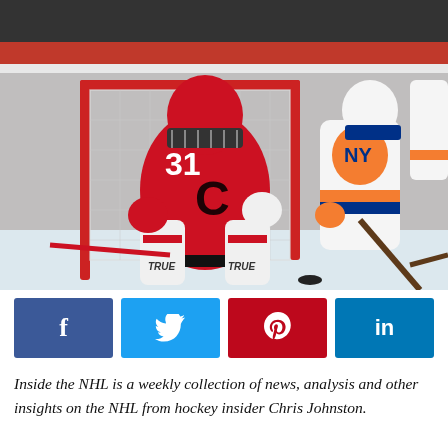[Figure (photo): A Carolina Hurricanes goalie wearing number 31 in a red jersey crouching in front of the net, with a New York Islanders player in a white jersey with orange and blue details approaching from the right side.]
[Figure (infographic): Social sharing buttons row: Facebook (dark blue, f icon), Twitter (light blue, bird icon), Pinterest (red, pin icon), LinkedIn (blue, in icon)]
Inside the NHL is a weekly collection of news, analysis and other insights on the NHL from hockey insider Chris Johnston.